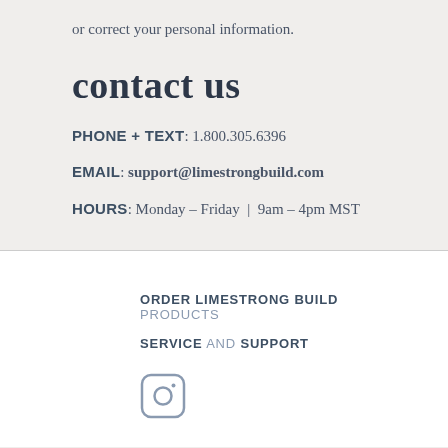or correct your personal information.
contact us
PHONE + TEXT: 1.800.305.6396
EMAIL: support@limestrongbuild.com
HOURS: Monday – Friday | 9am – 4pm MST
ORDER LIMESTRONG BUILD PRODUCTS
SERVICE AND SUPPORT
[Figure (logo): Instagram icon - rounded square with camera icon inside]